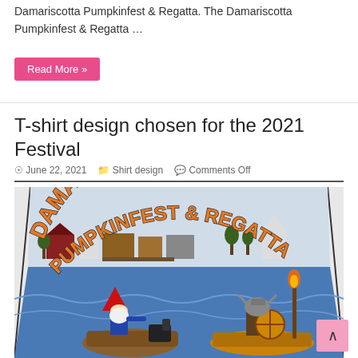Damariscotta Pumpkinfest & Regatta. The Damariscotta Pumpkinfest & Regatta …
Read More »
T-shirt design chosen for the 2021 Festival
June 22, 2021  Shirt design  Comments Off
[Figure (illustration): T-shirt design illustration for Damariscotta Pumpkinfest & Regatta 2021 showing a colorful cartoon with a gnome and a viking in boats on water, with a waterfront town skyline in the background. The text 'DAMARISCOTTA PUMPKINFEST & REGATTA' arches across the top in orange bold letters with dark outlines.]